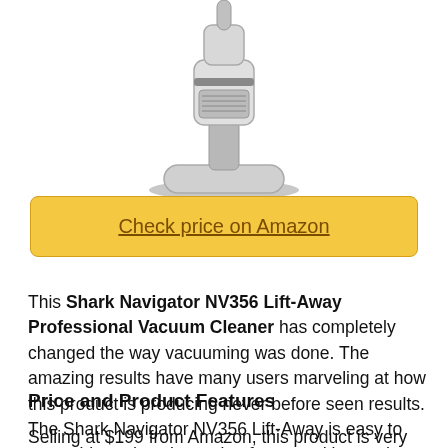[Figure (photo): Product photo of a Shark Navigator NV356 Lift-Away Professional Vacuum Cleaner, shown as an upright vacuum with silver and grey body]
Check price on Amazon
This Shark Navigator NV356 Lift-Away Professional Vacuum Cleaner has completely changed the way vacuuming was done. The amazing results have many users marveling at how this product is producing never before seen results. The Shark Navigator NV356 Lift-Away is easy to assemble and works easier, faster and better than anything else on offer.
Price and Product Features
Selling at $199 from Amazon, this product is very